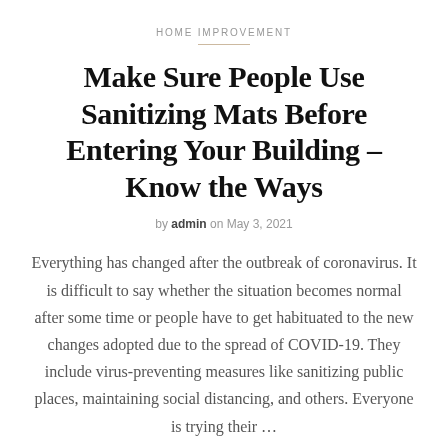HOME IMPROVEMENT
Make Sure People Use Sanitizing Mats Before Entering Your Building – Know the Ways
by admin on May 3, 2021
Everything has changed after the outbreak of coronavirus. It is difficult to say whether the situation becomes normal after some time or people have to get habituated to the new changes adopted due to the spread of COVID-19. They include virus-preventing measures like sanitizing public places, maintaining social distancing, and others. Everyone is trying their …